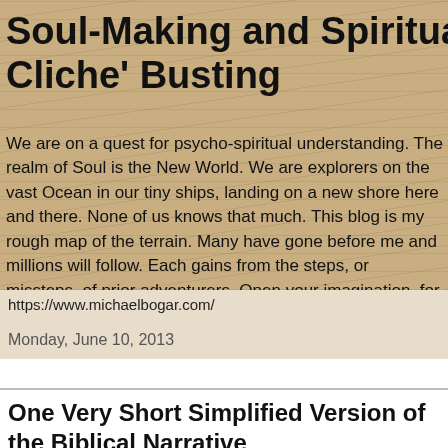Soul-Making and Spiritual Cliche' Busting
We are on a quest for psycho-spiritual understanding. The realm of Soul is the New World. We are explorers on the vast Ocean in our tiny ships, landing on a new shore here and there. None of us knows that much. This blog is my rough map of the terrain. Many have gone before me and millions will follow. Each gains from the steps, or missteps, of prior adventurers. Open your imagination, for Imagination provides both the ship and the territory to be explored.
https://www.michaelbogar.com/
Monday, June 10, 2013
One Very Short Simplified Version of the Biblical Narrative